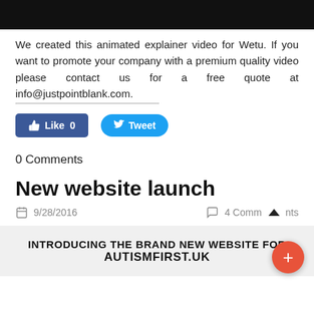[Figure (screenshot): Black bar at top representing a video player or header image]
We created this animated explainer video for Wetu. If you want to promote your company with a premium quality video please contact us for a free quote at info@justpointblank.com.
[Figure (screenshot): Social sharing buttons: Like 0 (Facebook) and Tweet (Twitter)]
0 Comments
New website launch
9/28/2016   4 Comments
[Figure (screenshot): Preview image with text: INTRODUCING THE BRAND NEW WEBSITE FOR AUTISMFIRST.UK]